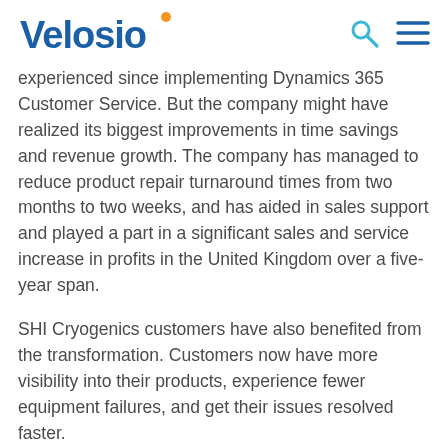Velosio
experienced since implementing Dynamics 365 Customer Service. But the company might have realized its biggest improvements in time savings and revenue growth. The company has managed to reduce product repair turnaround times from two months to two weeks, and has aided in sales support and played a part in a significant sales and service increase in profits in the United Kingdom over a five-year span.
SHI Cryogenics customers have also benefited from the transformation. Customers now have more visibility into their products, experience fewer equipment failures, and get their issues resolved faster.